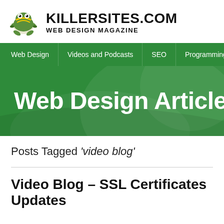[Figure (logo): Killersites.com frog logo and site name]
KILLERSITES.COM
WEB DESIGN MAGAZINE
Web Design | Videos and Podcasts | SEO | Programming
Web Design Articles &
Posts Tagged 'video blog'
Video Blog – SSL Certificates Updates